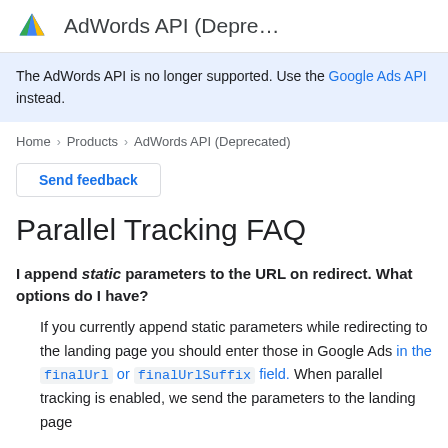AdWords API (Depre…
The AdWords API is no longer supported. Use the Google Ads API instead.
Home > Products > AdWords API (Deprecated)
Send feedback
Parallel Tracking FAQ
I append static parameters to the URL on redirect. What options do I have?
If you currently append static parameters while redirecting to the landing page you should enter those in Google Ads in the finalUrl or finalUrlSuffix field. When parallel tracking is enabled, we send the parameters to the landing page